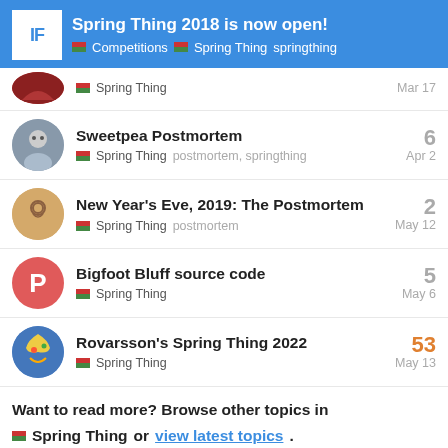Spring Thing 2018 is now open! | Competitions | Spring Thing | springthing
Spring Thing — Mar 17
Sweetpea Postmortem — Spring Thing, postmortem, springthing — 6 replies — Apr 2
New Year's Eve, 2019: The Postmortem — Spring Thing, postmortem — 2 replies — May 12
Bigfoot Bluff source code — Spring Thing — 5 replies — May 6
Rovarsson's Spring Thing 2022 — Spring Thing — 53 replies — May 13
Want to read more? Browse other topics in Spring Thing or view latest topics.